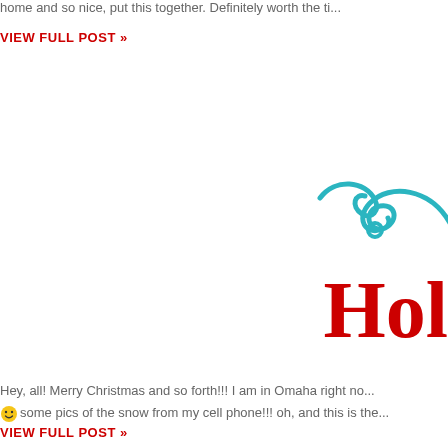home and so nice, put this together. Definitely worth the ti...
VIEW FULL POST »
[Figure (illustration): Decorative teal/cyan swirl ornament]
Hol
Hey, all! Merry Christmas and so forth!!! I am in Omaha right no... 😀 some pics of the snow from my cell phone!!! oh, and this is the...
VIEW FULL POST »